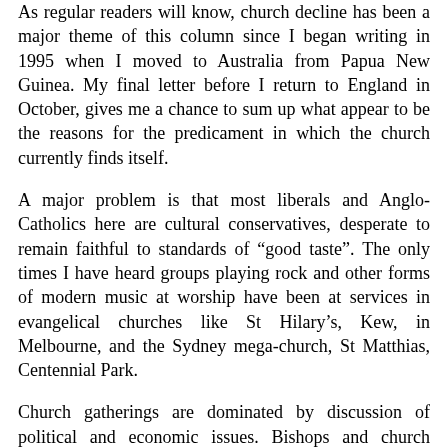As regular readers will know, church decline has been a major theme of this column since I began writing in 1995 when I moved to Australia from Papua New Guinea. My final letter before I return to England in October, gives me a chance to sum up what appear to be the reasons for the predicament in which the church currently finds itself.
A major problem is that most liberals and Anglo-Catholics here are cultural conservatives, desperate to remain faithful to standards of "good taste". The only times I have heard groups playing rock and other forms of modern music at worship have been at services in evangelical churches like St Hilary's, Kew, in Melbourne, and the Sydney mega-church, St Matthias, Centennial Park.
Church gatherings are dominated by discussion of political and economic issues. Bishops and church leaders are quick to denounce gambling or economic rationalism because they know that in taking such a stand they will receive support in the wider community. Far less attention is devoted to the challenge or secularism or the claims of popular modern creeds like “scientism” or the New Age.
Synods are poisoned by internal church politics. Issues like the ordination of women or sexuality are used to grab power, marginalise opponents and deprive them of positions of influence in the church. Life in the diocese of Melbourne is made unpleasant